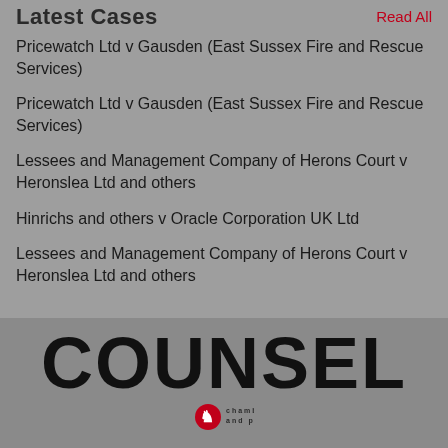Latest Cases
Read All
Pricewatch Ltd v Gausden (East Sussex Fire and Rescue Services)
Pricewatch Ltd v Gausden (East Sussex Fire and Rescue Services)
Lessees and Management Company of Herons Court v Heronslea Ltd and others
Hinrichs and others v Oracle Corporation UK Ltd
Lessees and Management Company of Herons Court v Heronslea Ltd and others
[Figure (logo): COUNSEL magazine logo with lion emblem]
COUNSEL